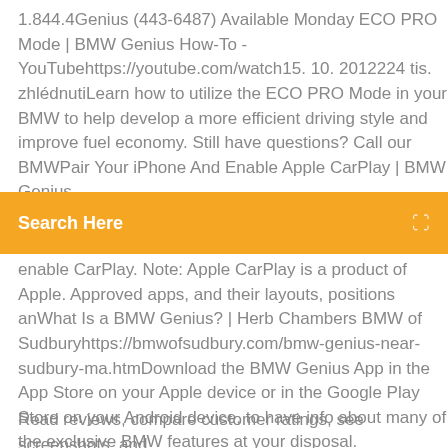1.844.4Genius (443-6487) Available Monday ECO PRO Mode | BMW Genius How-To - YouTubehttps://youtube.com/watch15. 10. 2012224 tis. zhlédnutiLearn how to utilize the ECO PRO Mode in your BMW to help develop a more efficient driving style and improve fuel economy. Still have questions? Call our BMWPair Your iPhone And Enable Apple CarPlay | BMW Genius
[Figure (screenshot): Orange search bar with 'Search Here' text and a search icon on the right]
enable CarPlay. Note: Apple CarPlay is a product of Apple. Approved apps, and their layouts, positions anWhat Is a BMW Genius? | Herb Chambers BMW of Sudburyhttps://bmwofsudbury.com/bmw-genius-near-sudbury-ma.htmDownload the BMW Genius App in the App Store on your Apple device or in the Google Play Store on your Android device, to have info about many of the exclusive BMW features at your disposal.
Read reviews, compare customer ratings, see screenshots, and